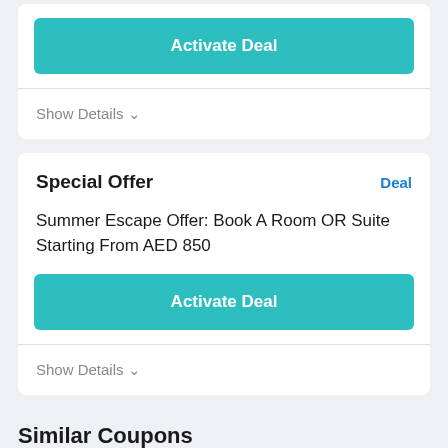[Figure (screenshot): Activate Deal button (teal/green rounded rectangle) at top of page]
Show Details ∨
Special Offer
Deal
Summer Escape Offer: Book A Room OR Suite Starting From AED 850
[Figure (screenshot): Activate Deal button (teal/green rounded rectangle) second instance]
Show Details ∨
Similar Coupons
You might like these similar offers